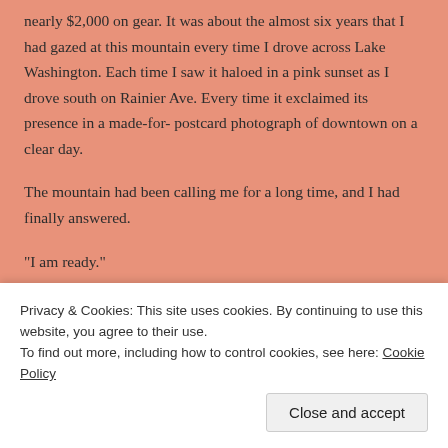nearly $2,000 on gear.  It was about the almost six years that I had gazed at this mountain every time I drove across Lake Washington.  Each time I saw it haloed in a pink sunset as I drove south on Rainier Ave.  Every time it exclaimed its presence in a made-for- postcard photograph of downtown on a clear day.
The mountain had been calling me for a long time, and I had finally answered.
“I am ready.”
We arrived in Ashford, WA on a beautiful and sunny
Privacy & Cookies: This site uses cookies. By continuing to use this website, you agree to their use.
To find out more, including how to control cookies, see here: Cookie Policy